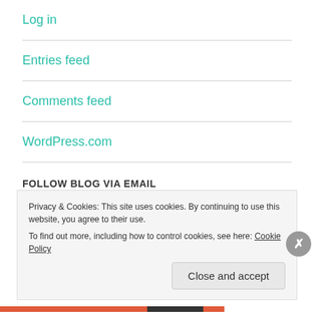Log in
Entries feed
Comments feed
WordPress.com
FOLLOW BLOG VIA EMAIL
Enter your email address to follow this blog and receive
Privacy & Cookies: This site uses cookies. By continuing to use this website, you agree to their use.
To find out more, including how to control cookies, see here: Cookie Policy
Close and accept